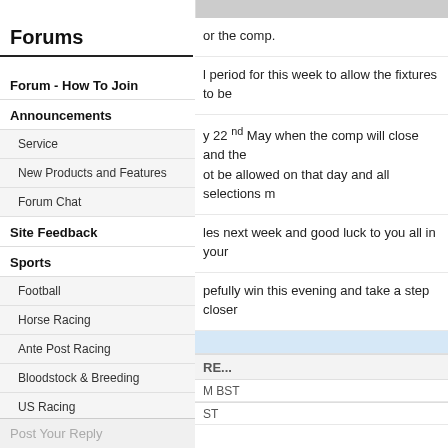[Figure (photo): Top banner image strip with dark reddish-brown thumbnail on the left]
Forums
Forum - How To Join
Announcements
Service
New Products and Features
Forum Chat
Site Feedback
Sports
Football
Horse Racing
Ante Post Racing
Bloodstock & Breeding
US Racing
Cheltenham Festival
Post Your Reply
or the comp.
l period for this week to allow the fixtures to be
y 22 nd May when the comp will close and the ot be allowed on that day and all selections m
les next week and good luck to you all in your
pefully win this evening and take a step closer
RE...
M BST
ST